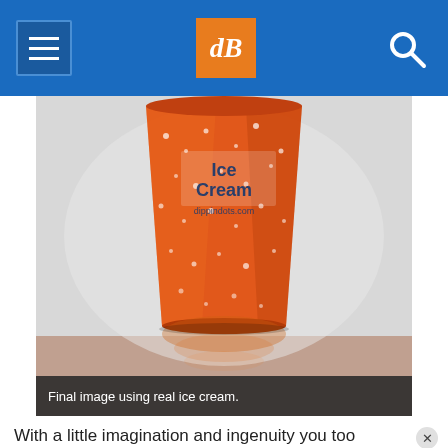dPS navigation bar with hamburger menu, dPS logo, and search icon
[Figure (photo): Close-up photo of an orange Dippin' Dots ice cream cup covered in condensation droplets, on a reflective surface with a light background. The cup label reads 'Ice Cream dippindots.com'.]
Final image using real ice cream.
With a little imagination and ingenuity you too